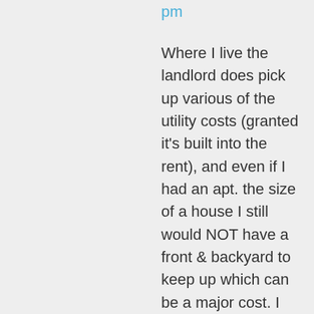pm
Where I live the landlord does pick up various of the utility costs (granted it's built into the rent), and even if I had an apt. the size of a house I still would NOT have a front & backyard to keep up which can be a major cost. I have no property taxes and insurance is waaay less than it would be for a house (I do have both liability & belongings insurance).
But another big factor, I don't think specifically mentioned yet, is what I've seen so many friends going through in the last decade: needing